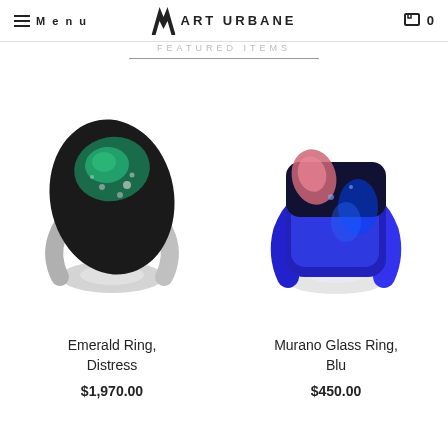Menu | ART URBANE | 0
FEATURED ITEMS
[Figure (photo): Emerald Ring, Distress - a dark black sculptural ring with rough emerald green gemstone and silvery mineral inclusions on top]
Emerald Ring, Distress
$1,970.00
[Figure (photo): Murano Glass Ring, Blu - a vivid cobalt blue glass ring with pink/rose colored accent and reflective surface]
Murano Glass Ring, Blu
$450.00